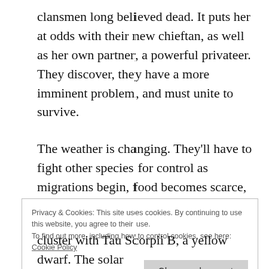clansmen long believed dead. It puts her at odds with their new chieftan, as well as her own partner, a powerful privateer. They discover, they have a more imminent problem, and must unite to survive.
The weather is changing. They'll have to fight other species for control as migrations begin, food becomes scarce, and border wars erupt across the territories. Humans are no longer at the top of the food chain.
Privacy & Cookies: This site uses cookies. By continuing to use this website, you agree to their use.
To find out more, including how to control cookies, see here: Cookie Policy
cluster with Tau Scorpii B, a yellow dwarf. The solar